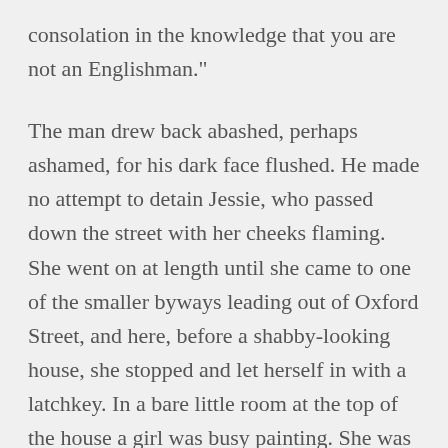consolation in the knowledge that you are not an Englishman."
The man drew back abashed, perhaps ashamed, for his dark face flushed. He made no attempt to detain Jessie, who passed down the street with her cheeks flaming. She went on at length until she came to one of the smaller byways leading out of Oxford Street, and here, before a shabby-looking house, she stopped and let herself in with a latchkey. In a bare little room at the top of the house a girl was busy painting. She was a smaller edition of Jessie, and more